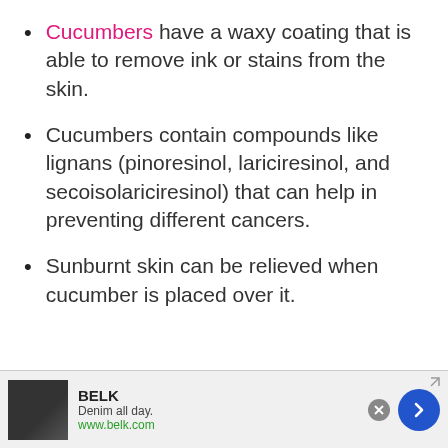Cucumbers have a waxy coating that is able to remove ink or stains from the skin.
Cucumbers contain compounds like lignans (pinoresinol, lariciresinol, and secoisolariciresinol) that can help in preventing different cancers.
Sunburnt skin can be relieved when cucumber is placed over it.
[Figure (screenshot): Advertisement banner for BELK: 'Denim all day. www.belk.com' with close button and forward arrow button.]